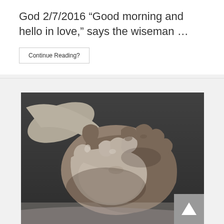God 2/7/2016 “Good morning and hello in love,” says the wiseman …
Continue Reading?
[Figure (photo): Black and white photograph of two hands clasped together, one younger and one older, showing an intergenerational or compassionate gesture of holding hands.]